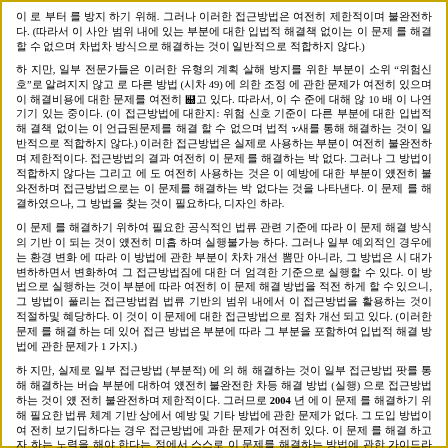Paragraph 1: Body text in non-Latin script (appears to be Korean/CJK-style placeholder glyphs). Multiple sentences of body text continuing across lines.
Paragraph 2: Body text referencing "..." with a reference number (footnote 49) and a number 10. Additional body text in multiple lines.
Paragraph 3: Body text in multiple lines continuing discussion.
Paragraph 4: Body text referencing year 2004 in the middle of the paragraph. Continues with multiple lines of body text.